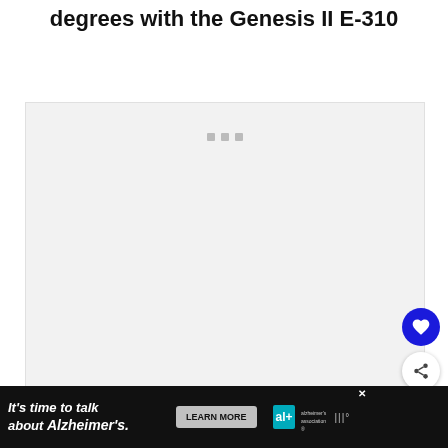degrees with the Genesis II E-310
[Figure (screenshot): Embedded video player area with light gray background and three small gray square dots indicating loading state. Overlaid are a blue circular heart/favorite button and a white circular share button with share icon. A 'WHAT'S NEXT' card in the bottom right shows a thumbnail and text 'Weber Spirit II E-210 Revie...']
[Figure (screenshot): Advertisement banner at bottom: black background with white italic text 'It’s time to talk about Alzheimer’s.' with a teal LEARN MORE button and Alzheimer's Association logo. A close (X) button appears in the top-right of the ad. Additional small icons appear on the far right.]